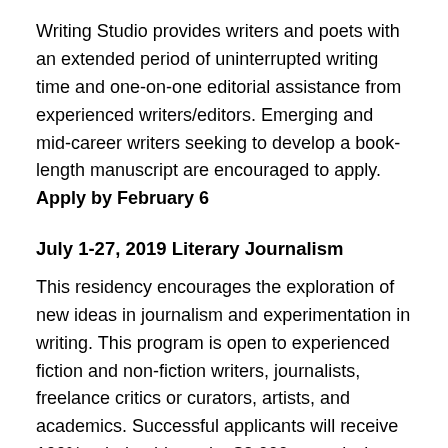Writing Studio provides writers and poets with an extended period of uninterrupted writing time and one-on-one editorial assistance from experienced writers/editors. Emerging and mid-career writers seeking to develop a book-length manuscript are encouraged to apply. Apply by February 6
July 1-27, 2019 Literary Journalism
This residency encourages the exploration of new ideas in journalism and experimentation in writing. This program is open to experienced fiction and non-fiction writers, journalists, freelance critics or curators, artists, and academics. Successful applicants will receive 100% scholarship and a $2,000 commission for the completed manuscript. Apply by February 27